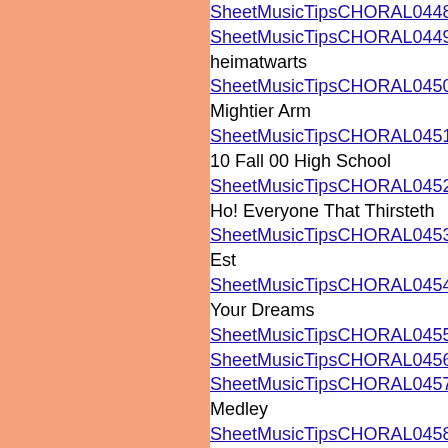SheetMusicTipsCHORAL0448.htm Hey,
SheetMusicTipsCHORAL0449.htm Highe... heimatwarts
SheetMusicTipsCHORAL0450.htm Himm... Mightier Arm
SheetMusicTipsCHORAL0451.htm His Mi... 10 Fall 00 High School
SheetMusicTipsCHORAL0452.htm HMP C... Ho! Everyone That Thirsteth
SheetMusicTipsCHORAL0453.htm Ho! Fl... Est
SheetMusicTipsCHORAL0454.htm Hodie... Your Dreams
SheetMusicTipsCHORAL0455.htm Hold F
SheetMusicTipsCHORAL0456.htm Holida
SheetMusicTipsCHORAL0457.htm Holy A... Medley
SheetMusicTipsCHORAL0458.htm Holy I
SheetMusicTipsCHORAL0459.htm Holy M... heilig, heilig)
SheetMusicTipsCHORAL0460.htm Holy,... > Home in That Rock
SheetMusicTipsCHORAL0461.htm Home... Tomorrow
SheetMusicTipsCHORAL0462.htm Hope... Glocke tont
SheetMusicTipsCHORAL0463.htm Horche... Hosanna To The King
SheetMusicTipsCHORAL0464.htm Hosar... Loud Hosanna SATB/Children